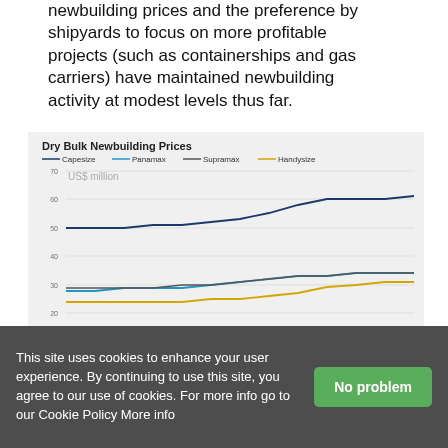newbuilding prices and the preference by shipyards to focus on more profitable projects (such as containerships and gas carriers) have maintained newbuilding activity at modest levels thus far.
[Figure (line-chart): Dry Bulk Newbuilding Prices]
[Figure (line-chart): Tanker Newbuilding Prices]
This site uses cookies to enhance your user experience. By continuing to use this site, you agree to our use of cookies. For more info go to our Cookie Policy More info